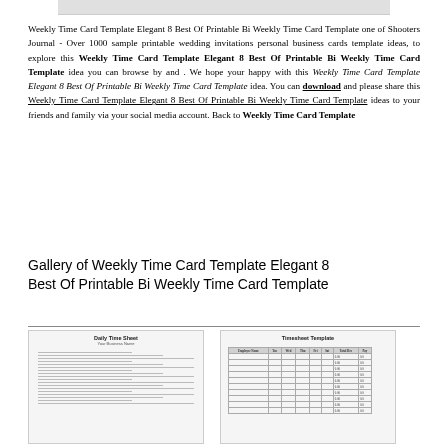[Figure (other): Top bar / header image placeholder (gray bar)]
Weekly Time Card Template Elegant 8 Best Of Printable Bi Weekly Time Card Template one of Shooters Journal - Over 1000 sample printable wedding invitations personal business cards template ideas, to explore this Weekly Time Card Template Elegant 8 Best Of Printable Bi Weekly Time Card Template idea you can browse by and . We hope your happy with this Weekly Time Card Template Elegant 8 Best Of Printable Bi Weekly Time Card Template idea. You can download and please share this Weekly Time Card Template Elegant 8 Best Of Printable Bi Weekly Time Card Template ideas to your friends and family via your social media account. Back to Weekly Time Card Template
Gallery of Weekly Time Card Template Elegant 8 Best Of Printable Bi Weekly Time Card Template
[Figure (other): Thumbnail of Daily Time Sheet template]
[Figure (other): Thumbnail of Timesheet Template with table columns]